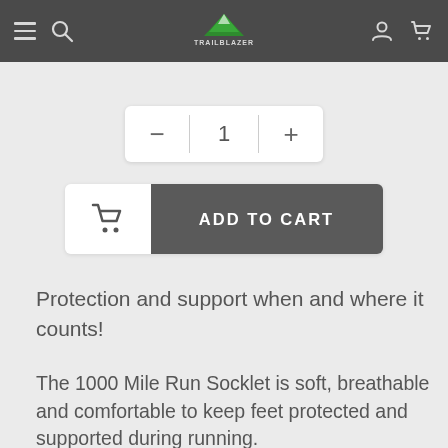TRAILBLAZER — navigation bar with hamburger menu, search, logo, user icon, cart icon
[Figure (screenshot): Quantity selector UI with minus button, number 1, plus button]
[Figure (screenshot): Add to Cart button with shopping cart icon on white left section and dark grey label area saying ADD TO CART]
Protection and support when and where it counts!
The 1000 Mile Run Socklet is soft, breathable and comfortable to keep feet protected and supported during running.
After the success of our Run Anklet style we incorporated these features into a